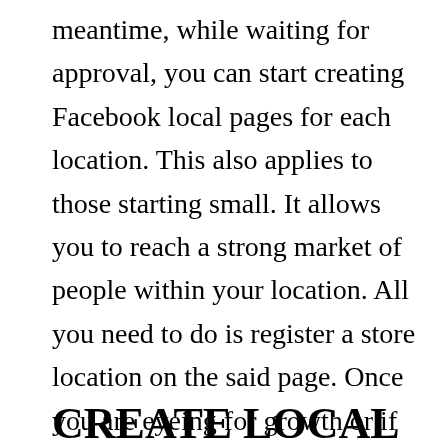meantime, while waiting for approval, you can start creating Facebook local pages for each location. This also applies to those starting small. It allows you to reach a strong market of people within your location. All you need to do is register a store location on the said page. Once you are eyeing for growth or if your global page is approved, you can just switch your local page and turn it into a market page.
CREATE LOCAL